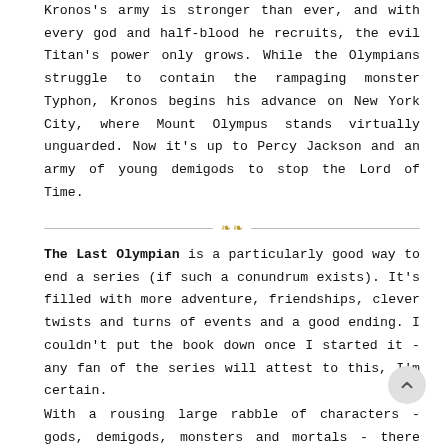Kronos's army is stronger than ever, and with every god and half-blood he recruits, the evil Titan's power only grows. While the Olympians struggle to contain the rampaging monster Typhon, Kronos begins his advance on New York City, where Mount Olympus stands virtually unguarded. Now it's up to Percy Jackson and an army of young demigods to stop the Lord of Time.
[Figure (illustration): Decorative horizontal divider with a golden floral ornament in the center flanked by thin lines.]
The Last Olympian is a particularly good way to end a series (if such a conundrum exists). It's filled with more adventure, friendships, clever twists and turns of events and a good ending. I couldn't put the book down once I started it - any fan of the series will attest to this, I'm certain.
With a rousing large rabble of characters - gods, demigods, monsters and mortals - there was an incredible amount of